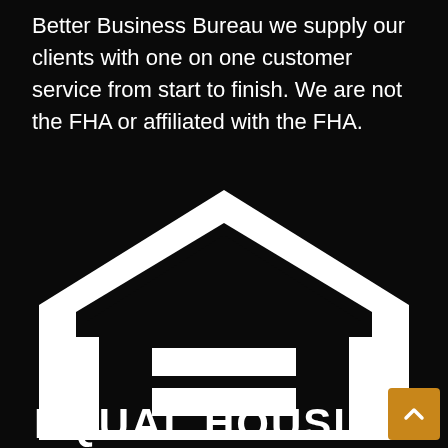Better Business Bureau we supply our clients with one on one customer service from start to finish. We are not the FHA or affiliated with the FHA.
[Figure (logo): Equal Housing Opportunity logo — white house silhouette outline with an equal sign (two horizontal rectangles) inside, on a black background, with 'EQUAL HOUSING' text below in bold white capital letters.]